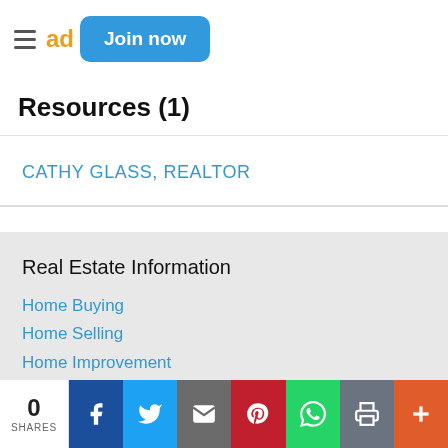Join now
Resources (1)
CATHY GLASS, REALTOR
Real Estate Information
Home Buying
Home Selling
Home Improvement
Real Estate General Information
Real Estate Market Trends
Lending / Financial
Local News and Events
Listings
0 SHARES